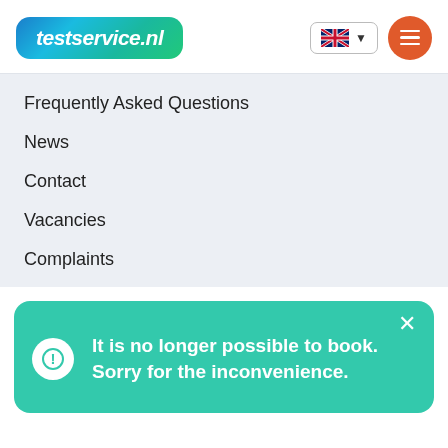[Figure (logo): testservice.nl logo with blue-to-green gradient rounded rectangle background, white italic bold text]
testservice.nl
Frequently Asked Questions
News
Contact
Vacancies
Complaints
It is no longer possible to book. Sorry for the inconvenience.